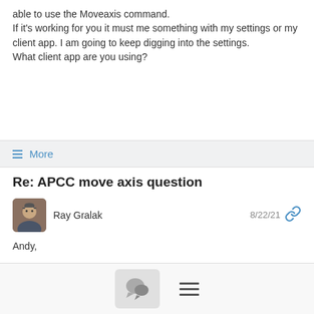able to use the Moveaxis command.
If it's working for you it must me something with my settings or my client app. I am going to keep digging into the settings.
What client app are you using?
≡ More
Re: APCC move axis question
Ray Gralak   8/22/21
Andy,

APCC has always supported the "MoveAxis" command through the ASCOM driver.

I just tried it, and it works for me using the V1 chip using my own ASCOM test application.